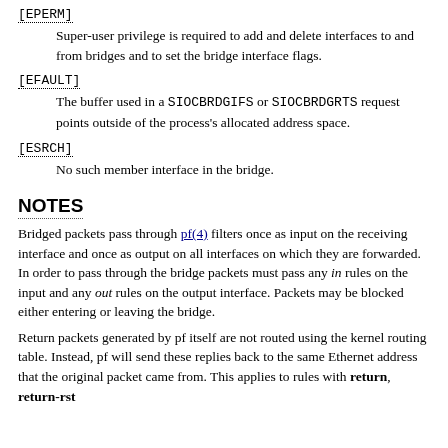[EPERM] Super-user privilege is required to add and delete interfaces to and from bridges and to set the bridge interface flags.
[EFAULT] The buffer used in a SIOCBRDGIFS or SIOCBRDGRTS request points outside of the process's allocated address space.
[ESRCH] No such member interface in the bridge.
NOTES
Bridged packets pass through pf(4) filters once as input on the receiving interface and once as output on all interfaces on which they are forwarded. In order to pass through the bridge packets must pass any in rules on the input and any out rules on the output interface. Packets may be blocked either entering or leaving the bridge.
Return packets generated by pf itself are not routed using the kernel routing table. Instead, pf will send these replies back to the same Ethernet address that the original packet came from. This applies to rules with return, return-rst